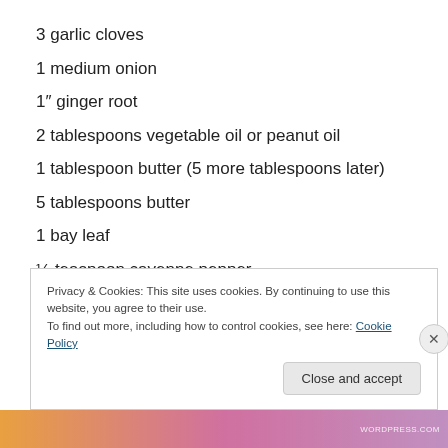3 garlic cloves
1 medium onion
1″ ginger root
2 tablespoons vegetable oil or peanut oil
1 tablespoon butter (5 more tablespoons later)
5 tablespoons butter
1 bay leaf
¼ teaspoon cayenne pepper
1 teaspoon chili powder
1 teaspoon cumin
Privacy & Cookies: This site uses cookies. By continuing to use this website, you agree to their use. To find out more, including how to control cookies, see here: Cookie Policy
Close and accept